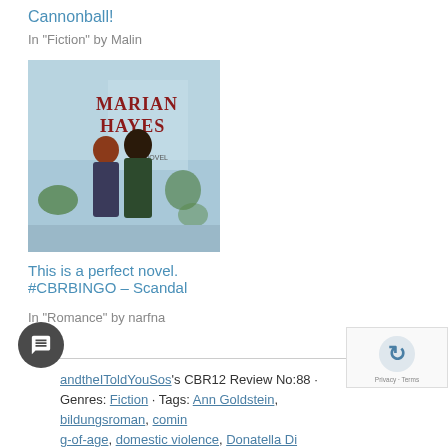Cannonball!
In "Fiction" by Malin
[Figure (illustration): Book cover for 'Marian Hayes' showing two people in an embrace against a blue background with illustrated foliage]
This is a perfect novel. #CBRBINGO – Scandal
In "Romance" by narfna
andtheIToldYouSos's CBR12 Review No:88 · Genres: Fiction · Tags: Ann Goldstein, bildungsroman, coming-of-age, domestic violence, Donatella Di Pietrantoni, book, Education, europa edition, family, generation, trauma, Italian language, Italy, L'Arminuta, Naples,